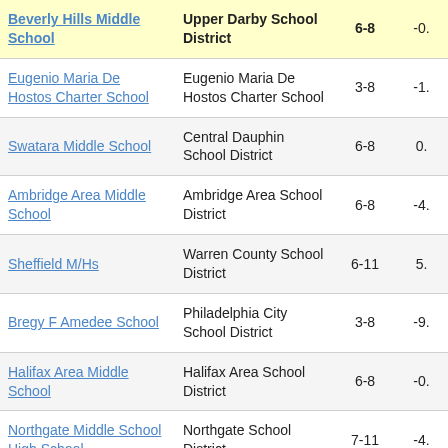| School | District | Grades | Value |
| --- | --- | --- | --- |
| Beverly Hills Middle School | Upper Darby School District | 6-8 | -0. |
| Eugenio Maria De Hostos Charter School | Eugenio Maria De Hostos Charter School | 3-8 | -1. |
| Swatara Middle School | Central Dauphin School District | 6-8 | 0. |
| Ambridge Area Middle School | Ambridge Area School District | 6-8 | -4. |
| Sheffield M/Hs | Warren County School District | 6-11 | 5. |
| Bregy F Amedee School | Philadelphia City School District | 3-8 | -9. |
| Halifax Area Middle School | Halifax Area School District | 6-8 | -0. |
| Northgate Middle School High School | Northgate School District | 7-11 | -4. |